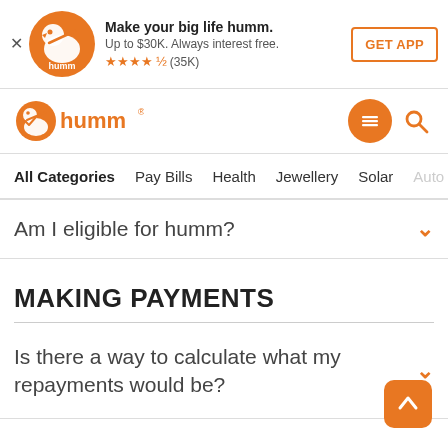[Figure (screenshot): Humm app advertisement banner with logo, tagline 'Make your big life humm.', subtitle 'Up to $30K. Always interest free.', star rating 4.5 stars (35K), and GET APP button]
[Figure (logo): Humm brand logo with orange bird icon and 'humm' text, navigation menu and search icons]
All Categories  Pay Bills  Health  Jewellery  Solar  Auto
Am I eligible for humm?
MAKING PAYMENTS
Is there a way to calculate what my repayments would be?